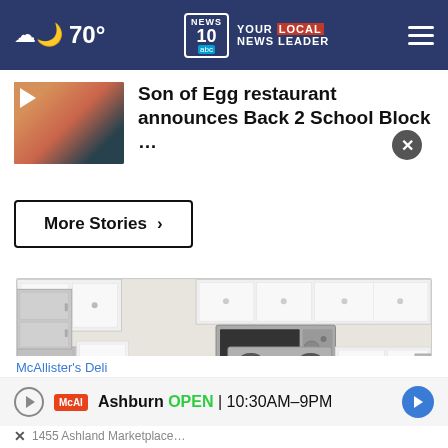70° | NEWS 10 ABC YOUR LOCAL NEWS LEADER
Son of Egg restaurant announces Back 2 School Block …
More Stories ›
[Figure (photo): Modern kitchen interior with stainless steel appliances, white cabinets, and dark hardwood floor]
McAllister's Deli  Ashburn  OPEN  10:30AM–9PM  1455 Ashland Marketplace…